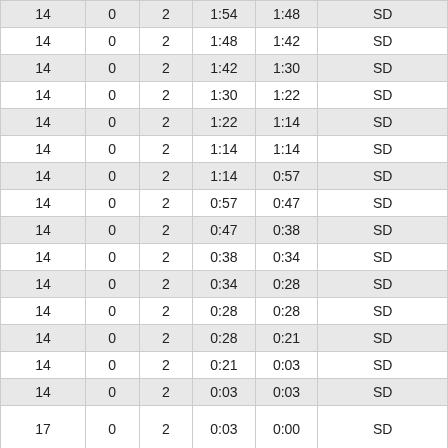| 14 | 0 | 2 | 1:54 | 1:48 | SD |
| 14 | 0 | 2 | 1:48 | 1:42 | SD |
| 14 | 0 | 2 | 1:42 | 1:30 | SD |
| 14 | 0 | 2 | 1:30 | 1:22 | SD |
| 14 | 0 | 2 | 1:22 | 1:14 | SD |
| 14 | 0 | 2 | 1:14 | 1:14 | SD |
| 14 | 0 | 2 | 1:14 | 0:57 | SD |
| 14 | 0 | 2 | 0:57 | 0:47 | SD |
| 14 | 0 | 2 | 0:47 | 0:38 | SD |
| 14 | 0 | 2 | 0:38 | 0:34 | SD |
| 14 | 0 | 2 | 0:34 | 0:28 | SD |
| 14 | 0 | 2 | 0:28 | 0:28 | SD |
| 14 | 0 | 2 | 0:28 | 0:21 | SD |
| 14 | 0 | 2 | 0:21 | 0:03 | SD |
| 14 | 0 | 2 | 0:03 | 0:03 | SD |
| 17 | 0 | 2 | 0:03 | 0:00 | SD |
|  |  |  |  |  |  |